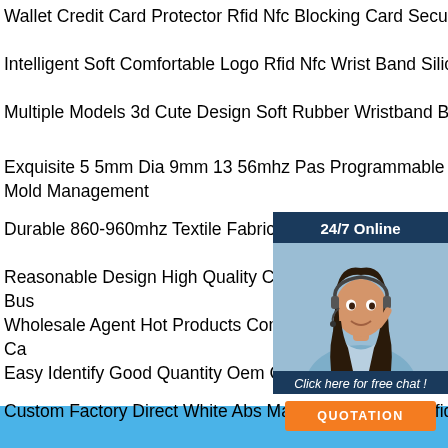Wallet Credit Card Protector Rfid Nfc Blocking Card Secure Protection Shield
Intelligent Soft Comfortable Logo Rfid Nfc Wrist Band Silicone Wristband
Multiple Models 3d Cute Design Soft Rubber Wristband Bracelets
Exquisite 5 5mm Dia 9mm 13 56mhz Pas Programmable Hf Micro Chip Fpc Rfid Mi Small Plastic Tube Mold Management
Durable 860-960mhz Textile Fabric Wove Uhf Rfid Laundry Tag Laundry
Reasonable Design High Quality Cmyk O Laser Gold Hot Stamping Glossy Pvc Bus
Wholesale Agent Hot Products Competitiv Customized Size Printable Plastic Pvc Ca
Easy Identify Good Quantity Oem Custom Pvc Warranty Card Luxury Watch
Custom Factory Direct White Abs Material Mobile Uhf Rfid Reader Integrated Rfid Reader Gate Uhf
[Figure (infographic): Chat widget overlay with dark blue background, photo of woman with headset, '24/7 Online' header, 'Click here for free chat!' text, and orange QUOTATION button]
[Figure (logo): TOP logo in orange/red dotted circle style]